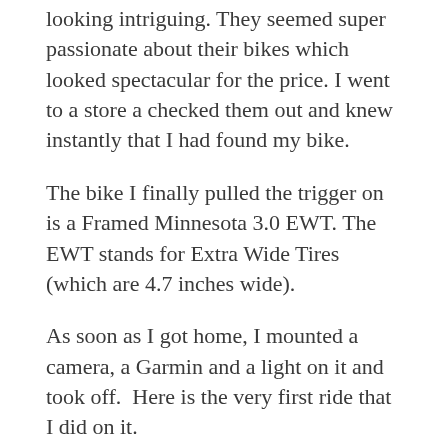looking intriguing. They seemed super passionate about their bikes which looked spectacular for the price. I went to a store a checked them out and knew instantly that I had found my bike.
The bike I finally pulled the trigger on is a Framed Minnesota 3.0 EWT. The EWT stands for Extra Wide Tires (which are 4.7 inches wide).
As soon as I got home, I mounted a camera, a Garmin and a light on it and took off.  Here is the very first ride that I did on it.